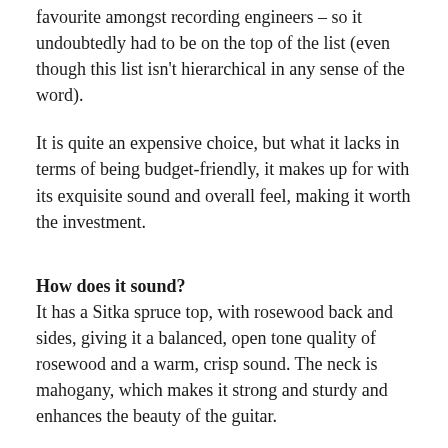favourite amongst recording engineers – so it undoubtedly had to be on the top of the list (even though this list isn't hierarchical in any sense of the word).
It is quite an expensive choice, but what it lacks in terms of being budget-friendly, it makes up for with its exquisite sound and overall feel, making it worth the investment.
How does it sound?
It has a Sitka spruce top, with rosewood back and sides, giving it a balanced, open tone quality of rosewood and a warm, crisp sound. The neck is mahogany, which makes it strong and sturdy and enhances the beauty of the guitar.
The fingerboard and bridge is ebony. Its Expression System 2 is equipped with easy-to-use volume, bass and treble controls which ensures amplified and